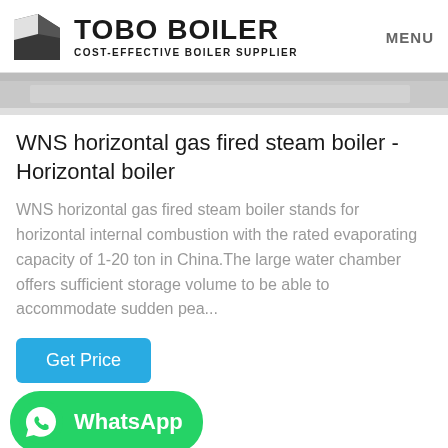TOBO BOILER COST-EFFECTIVE BOILER SUPPLIER | MENU
[Figure (photo): Top banner photo showing industrial boiler equipment interior, grey tones]
WNS horizontal gas fired steam boiler - Horizontal boiler
WNS horizontal gas fired steam boiler stands for horizontal internal combustion with the rated evaporating capacity of 1-20 ton in China.The large water chamber offers sufficient storage volume to be able to accommodate sudden pea...
[Figure (screenshot): Get Price button - cyan/blue rounded rectangle button]
[Figure (screenshot): WhatsApp button - green rounded button with WhatsApp logo and text WhatsApp]
[Figure (photo): Bottom photo showing boiler piping and equipment, partial view]